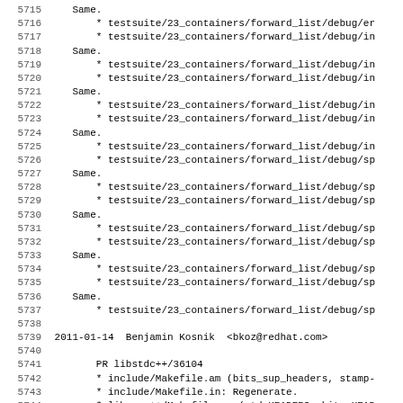5715    Same.
5716        * testsuite/23_containers/forward_list/debug/er
5717        * testsuite/23_containers/forward_list/debug/in
5718    Same.
5719        * testsuite/23_containers/forward_list/debug/in
5720        * testsuite/23_containers/forward_list/debug/in
5721    Same.
5722        * testsuite/23_containers/forward_list/debug/in
5723        * testsuite/23_containers/forward_list/debug/in
5724    Same.
5725        * testsuite/23_containers/forward_list/debug/in
5726        * testsuite/23_containers/forward_list/debug/sp
5727    Same.
5728        * testsuite/23_containers/forward_list/debug/sp
5729        * testsuite/23_containers/forward_list/debug/sp
5730    Same.
5731        * testsuite/23_containers/forward_list/debug/sp
5732        * testsuite/23_containers/forward_list/debug/sp
5733    Same.
5734        * testsuite/23_containers/forward_list/debug/sp
5735        * testsuite/23_containers/forward_list/debug/sp
5736    Same.
5737        * testsuite/23_containers/forward_list/debug/sp
5738
5739 2011-01-14  Benjamin Kosnik  <bkoz@redhat.com>
5740
5741        PR libstdc++/36104
5742        * include/Makefile.am (bits_sup_headers, stamp-
5743        * include/Makefile.in: Regenerate.
5744        * libsupc++/Makefile.am (std_HEADERS, bits_HEAD
5745        (install-stdHEADERS, install-bitsHEADERS): New.
5746        * libsupc++/Makefile.in: Regenerate.